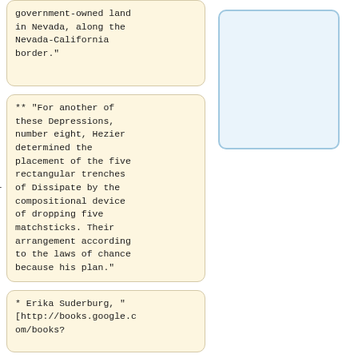government-owned land in Nevada, along the Nevada-California border."
[Figure (other): Empty blue-bordered box in right column]
** "For another of these Depressions, number eight, Hezier determined the placement of the five rectangular trenches of Dissipate by the compositional device of dropping five matchsticks. Their arrangement according to the laws of chance because his plan."
* Erika Suderburg, "[http://books.google.com/books?